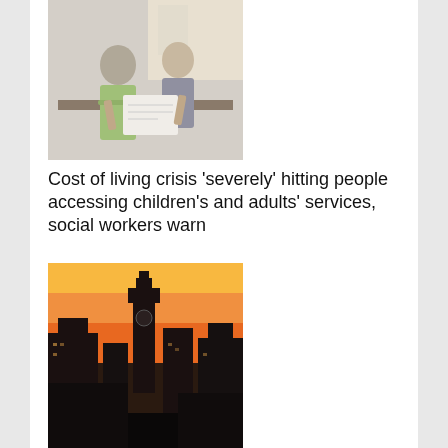[Figure (photo): Two people sitting together, one appears to be a social worker or professional reviewing documents with an elderly person, indoor setting with window light]
Cost of living crisis ‘severely’ hitting people accessing children’s and adults’ services, social workers warn
[Figure (photo): City skyline at sunset with orange sky and silhouette of buildings including a clock tower]
‘Highly effective’ information sharing drives improvements to ‘inadequate’ council’s child protection services
[Figure (photo): Close-up of a document or binder with the word REGULATIONS printed on it, with glasses resting on top]
Social work regulations set